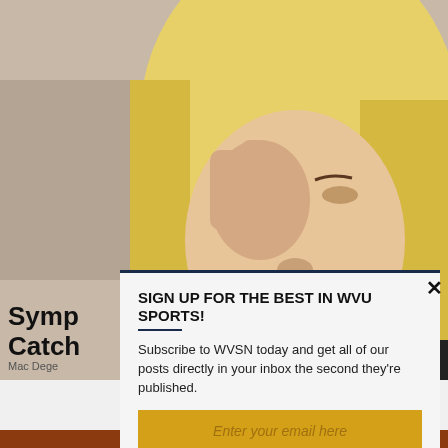[Figure (photo): Close-up photo of a blonde woman touching/rubbing her eye with her hand, appearing distressed or having eye irritation, blurred background]
Symp... Catch...
Mac Dege...
SIGN UP FOR THE BEST IN WVU SPORTS!
Subscribe to WVSN today and get all of our posts directly in your inbox the second they're published.
Enter your email here
SUBSCRIBE NOW!
We respect your privacy and will never sell your info